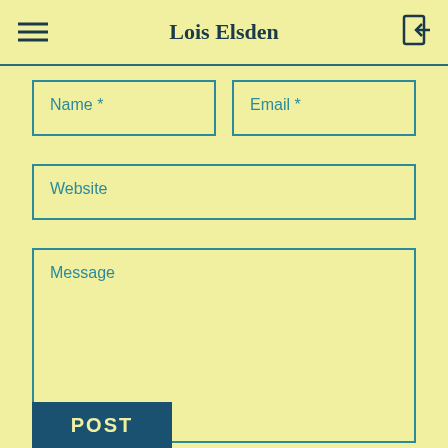Lois Elsden
[Figure (screenshot): Contact form with fields: Name*, Email*, Website, Message, and a POST button]
Name *
Email *
Website
Message
POST